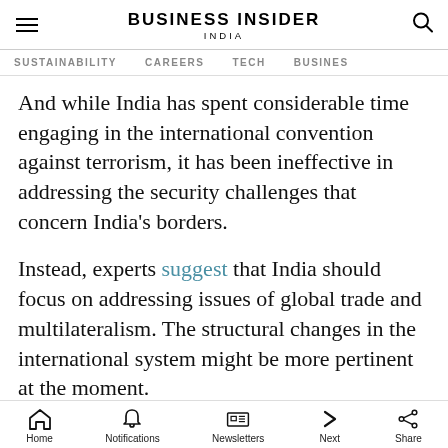BUSINESS INSIDER INDIA
SUSTAINABILITY   CAREERS   TECH   BUSINES
And while India has spent considerable time engaging in the international convention against terrorism, it has been ineffective in addressing the security challenges that concern India's borders.
Instead, experts suggest that India should focus on addressing issues of global trade and multilateralism. The structural changes in the international system might be more pertinent at the moment.
Home   Notifications   Newsletters   Next   Share